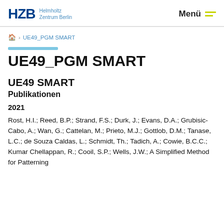HZB Helmholtz Zentrum Berlin | Menü
🏠 › UE49_PGM SMART
UE49_PGM SMART
UE49 SMART
Publikationen
2021
Rost, H.I.; Reed, B.P.; Strand, F.S.; Durk, J.; Evans, D.A.; Grubisic-Cabo, A.; Wan, G.; Cattelan, M.; Prieto, M.J.; Gottlob, D.M.; Tanase, L.C.; de Souza Caldas, L.; Schmidt, Th.; Tadich, A.; Cowie, B.C.C.; Kumar Chellappan, R.; Cooil, S.P.; Wells, J.W.; A Simplified Method for Patterning